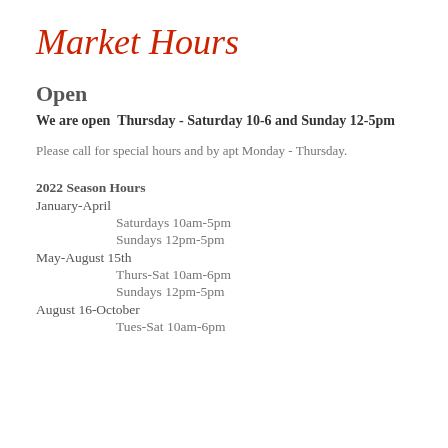Market Hours
Open
We are open  Thursday - Saturday 10-6 and Sunday 12-5pm
Please call for special hours and by apt Monday - Thursday.
2022 Season Hours
January-April
Saturdays 10am-5pm
Sundays 12pm-5pm
May-August 15th
Thurs-Sat 10am-6pm
Sundays 12pm-5pm
August 16-October
Tues-Sat 10am-6pm